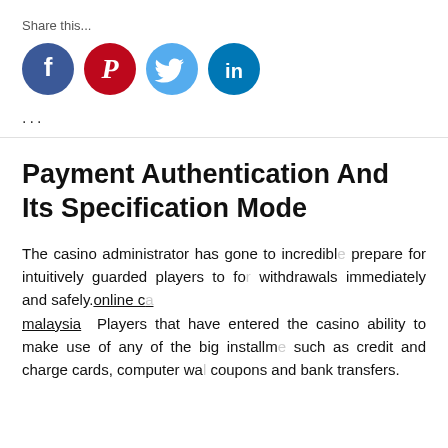Share this...
[Figure (infographic): Four social media share buttons: Facebook (blue circle with f), Pinterest (red circle with P logo), Twitter (light blue circle with bird), LinkedIn (dark blue circle with in)]
...
Payment Authentication And Its Specification Mode
The casino administrator has gone to incredible prepare for intuitively guarded players to for withdrawals immediately and safely.online casino malaysia Players that have entered the casino ability to make use of any of the big installm such as credit and charge cards, computer wa coupons and bank transfers.